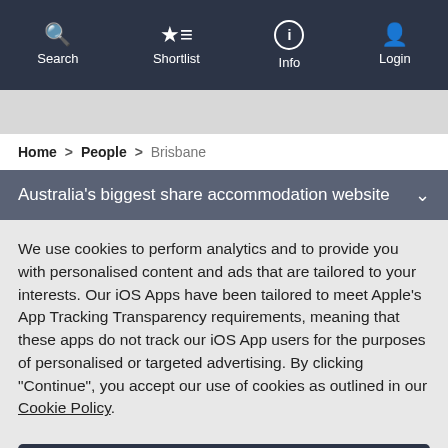Search  Shortlist  Info  Login
Home > People > Brisbane
Australia's biggest share accommodation website
We use cookies to perform analytics and to provide you with personalised content and ads that are tailored to your interests. Our iOS Apps have been tailored to meet Apple's App Tracking Transparency requirements, meaning that these apps do not track our iOS App users for the purposes of personalised or targeted advertising. By clicking "Continue", you accept our use of cookies as outlined in our Cookie Policy.
Continue